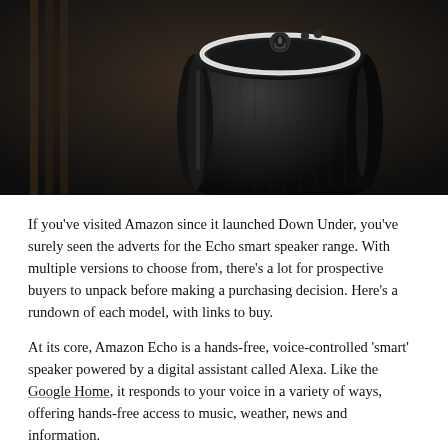[Figure (photo): Close-up photograph of an Amazon Echo smart speaker (cylindrical black device with glowing white ring at the top) on a dark background with wooden elements visible.]
If you've visited Amazon since it launched Down Under, you've surely seen the adverts for the Echo smart speaker range. With multiple versions to choose from, there's a lot for prospective buyers to unpack before making a purchasing decision. Here's a rundown of each model, with links to buy.
At its core, Amazon Echo is a hands-free, voice-controlled 'smart' speaker powered by a digital assistant called Alexa. Like the Google Home, it responds to your voice in a variety of ways, offering hands-free access to music, weather, news and information.